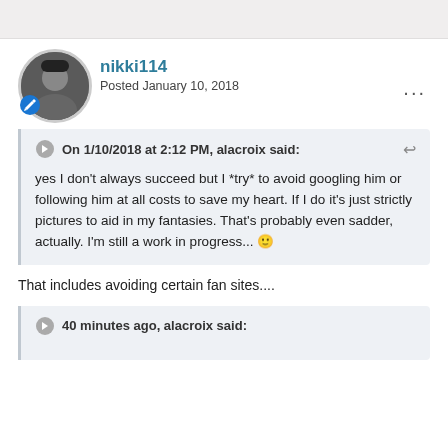nikki114
Posted January 10, 2018
On 1/10/2018 at 2:12 PM, alacroix said:
yes I don't always succeed but I *try* to avoid googling him or following him at all costs to save my heart. If I do it's just strictly pictures to aid in my fantasies. That's probably even sadder, actually. I'm still a work in progress... 😊
That includes avoiding certain fan sites....
40 minutes ago, alacroix said: